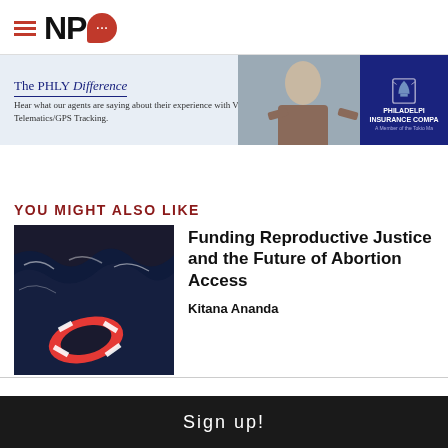[Figure (logo): NPQ (Nonprofit Quarterly) logo with hamburger menu lines and red speech bubble]
[Figure (photo): Philadelphia Insurance Companies advertisement banner with woman and PHLY Difference tagline]
YOU MIGHT ALSO LIKE
[Figure (photo): Dark ocean water with red life preserver ring]
Funding Reproductive Justice and the Future of Abortion Access
Kitana Ananda
Sign up!